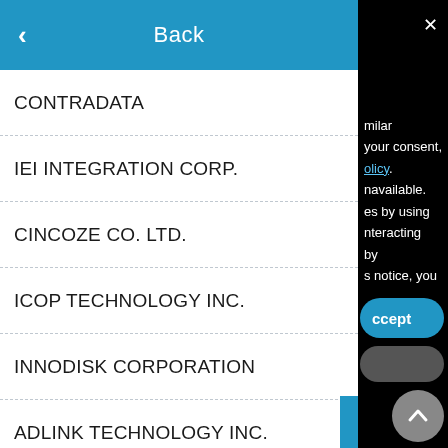Back
CONTRADATA
IEI INTEGRATION CORP.
CINCOZE CO. LTD.
ICOP TECHNOLOGY INC.
INNODISK CORPORATION
ADLINK TECHNOLOGY INC.
CONGATEC
DFI INC.
[Figure (screenshot): Overlay dialog on the right side showing partial privacy/consent text with a blue Accept button and a grey button, plus a close X button. Bottom right shows a scroll-up circular button and partial text 'nel LVDS (up to'.]